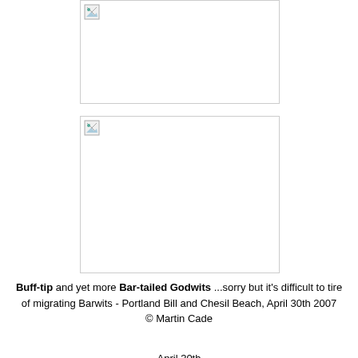[Figure (photo): Top image placeholder — broken image icon visible at top left, white interior with light border]
[Figure (photo): Bottom image placeholder — broken image icon visible at top left, white interior with light border]
Buff-tip and yet more Bar-tailed Godwits ...sorry but it's difficult to tire of migrating Barwits - Portland Bill and Chesil Beach, April 30th 2007 © Martin Cade
April 30th